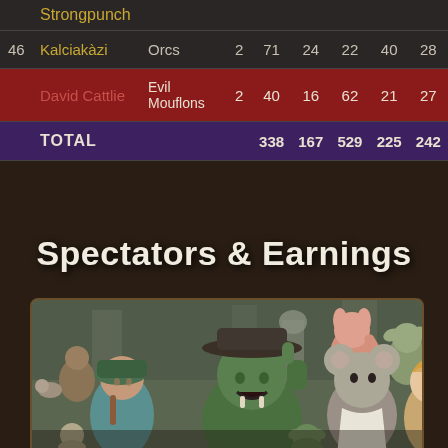| # | Name | Team | Num | Col1 | Col2 | Col3 | Col4 | Col5 |
| --- | --- | --- | --- | --- | --- | --- | --- | --- |
|  | Strongpunch |  |  |  |  |  |  |  |
| 46 | Kalciakàzi | Orcs | 2 | 71 | 24 | 22 | 40 | 28 |
|  | David Cattlie | Evil Mouflons | 2 | 40 | 16 | 62 | 21 | 27 |
| TOTAL |  |  |  | 338 | 167 | 529 | 225 | 242 |
Spectators & Earnings
[Figure (illustration): Fantasy crowd scene with various creatures including orcs, humans, and anthropomorphic animals cheering at what appears to be an arena event.]